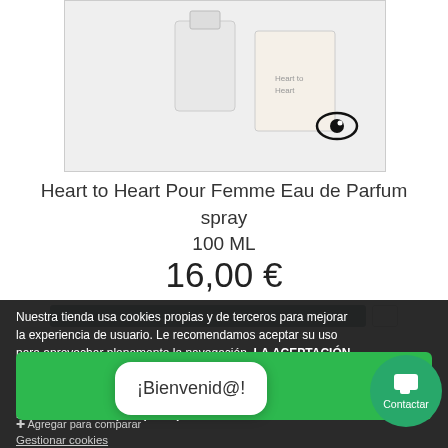[Figure (photo): Product image of Heart to Heart Pour Femme Eau de Parfum spray 100 ML perfume bottle with eye icon overlay]
Heart to Heart Pour Femme Eau de Parfum spray 100 ML
16,00 €
Nuestra tienda usa cookies propias y de terceros para mejorar la experiencia de usuario. Le recomendamos aceptar su uso para aprovechar plenamente la navegación. LA ACEPTACIÓN DE COOKIES ES NECESARIA PARA PODER REALIZAR COMPRAS EN NUESTRA WEB.
Pulse botón "Acepto" para que
Gestionar cookies
¡Bienvenid@!
Contactar
ACEPTO